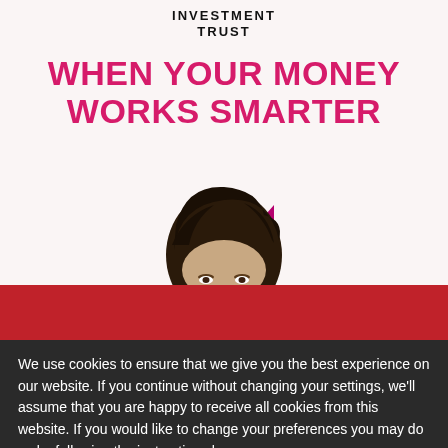INVESTMENT TRUST
WHEN YOUR MONEY WORKS SMARTER
[Figure (illustration): Partial view of a woman's face (top of head with dark hair) peeking up from the bottom of the promotional image area, with a magenta/pink triangle accent in the lower left]
Cookie Policy
We use cookies to ensure that we give you the best experience on our website. If you continue without changing your settings, we'll assume that you are happy to receive all cookies from this website. If you would like to change your preferences you may do so by following the instructions here.